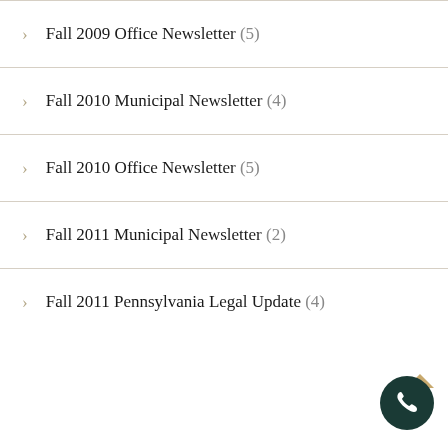Fall 2009 Office Newsletter (5)
Fall 2010 Municipal Newsletter (4)
Fall 2010 Office Newsletter (5)
Fall 2011 Municipal Newsletter (2)
Fall 2011 Pennsylvania Legal Update (4)